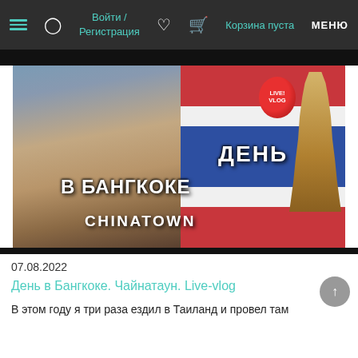Войти / Регистрация  Корзина пуста  МЕНЮ
[Figure (photo): Thumbnail image for a video vlog: a bearded man smiling against a Thai flag background with Chinatown temple. Text overlays: 'LIVE VLOG', 'ДЕНЬ В БАНГКОКЕ', 'CHINATOWN'. Red Chinese lantern visible.]
07.08.2022
День в Бангкоке. Чайнатаун. Live-vlog
В этом году я три раза ездил в Таиланд и провел там